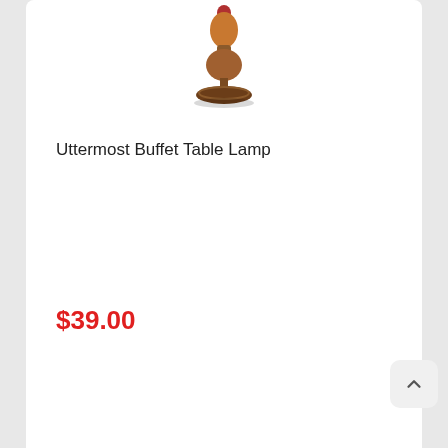[Figure (photo): Product photo of Uttermost Buffet Table Lamp showing a small ornate lamp base with amber/wood tones and red finial, no shade visible, top portion cropped]
Uttermost Buffet Table Lamp
$39.00
[Figure (photo): Product photo of a tall buffet lamp with a pleated golden/tan fabric shade, slender brass-toned metal column, red finial at top, and decorative green glass accent near the base]